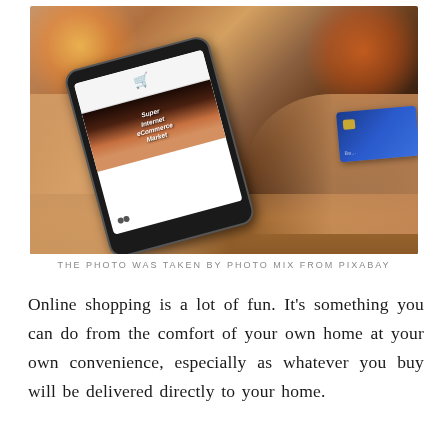[Figure (photo): A woman's hands holding a white smartphone showing an eCommerce marketplace website with a shopping cart icon, while her other hand holds a blue credit card. Background has blurred candles and warm orange tones, with a wooden surface visible.]
THE PHOTO WAS TAKEN BY PHOTO MIX FROM PIXABAY
Online shopping is a lot of fun. It's something you can do from the comfort of your own home at your own convenience, especially as whatever you buy will be delivered directly to your home.